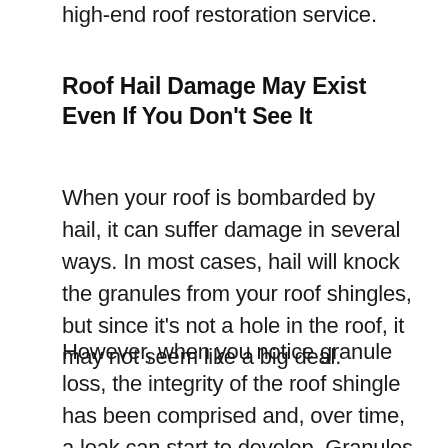high-end roof restoration service.
Roof Hail Damage May Exist Even If You Don't See It
When your roof is bombarded by hail, it can suffer damage in several ways. In most cases, hail will knock the granules from your roof shingles, but since it's not a hole in the roof, it may not seem like a big deal.
However, when you notice granule loss, the integrity of the roof shingle has been comprised and, over time, a leak can start to develop. Granules protect shingles from the sun's UV rays and the elements. When the